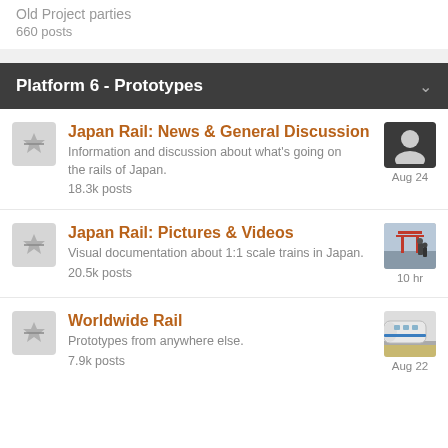Old Project parties
660 posts
Platform 6 - Prototypes
Japan Rail: News & General Discussion
Information and discussion about what's going on the rails of Japan.
18.3k posts
Aug 24
Japan Rail: Pictures & Videos
Visual documentation about 1:1 scale trains in Japan.
20.5k posts
10 hr
Worldwide Rail
Prototypes from anywhere else.
7.9k posts
Aug 22